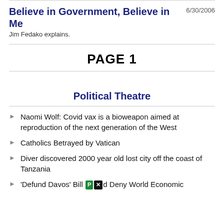6/30/2006
Believe in Government, Believe in Me
Jim Fedako explains.
PAGE 1
Political Theatre
Naomi Wolf: Covid vax is a bioweapon aimed at reproduction of the next generation of the West
Catholics Betrayed by Vatican
Diver discovered 2000 year old lost city off the coast of Tanzania
'Defund Davos' Bill [P][X] Deny World Economic